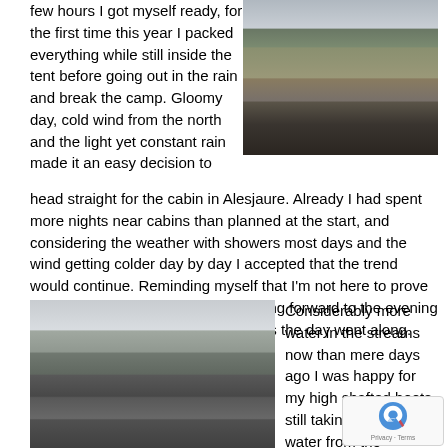few hours I got myself ready, for the first time this year I packed everything while still inside the tent before going out in the rain and break the camp. Gloomy day, cold wind from the north and the light yet constant rain made it an easy decision to
[Figure (photo): Moorland landscape with a lake, mountains in the background under a cloudy grey sky]
head straight for the cabin in Alesjaure. Already I had spent more nights near cabins than planned at the start, and considering the weather with showers most days and the wind getting colder day by day I accepted that the trend would continue. Reminding myself that I'm not here to prove how much hardship I can take, looking forward to the evening sauna became increasingly easier as the day went along.
[Figure (photo): Rocky stream or river in a moorland landscape under an overcast sky]
Considerably more water in the streams now than mere days ago I was happy for my high shafted boots, still taking in some water from the drenched vegetation pulling my trousers and moving m… up the boots.